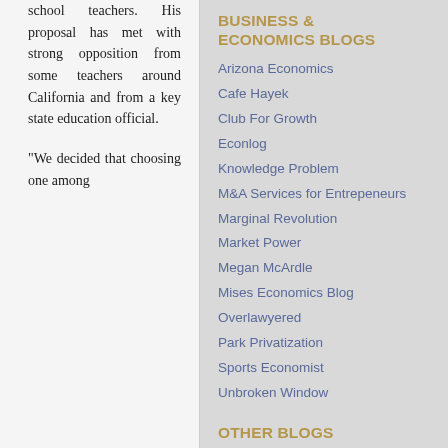school teachers. His proposal has met with strong opposition from some teachers around California and from a key state education official.
"We decided that choosing one among
BUSINESS & ECONOMICS BLOGS
Arizona Economics
Cafe Hayek
Club For Growth
Econlog
Knowledge Problem
M&A Services for Entrepeneurs
Marginal Revolution
Market Power
Megan McArdle
Mises Economics Blog
Overlawyered
Park Privatization
Sports Economist
Unbroken Window
OTHER BLOGS
Arizona Watch
Asymmetrical Information
Carpe Diem